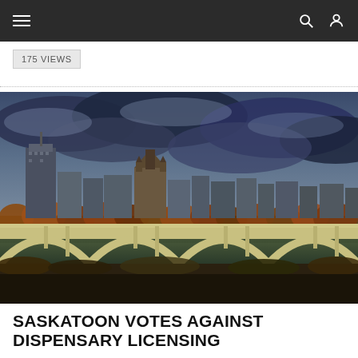Navigation bar with menu, search, and user icons
175 VIEWS
[Figure (photo): Cityscape of Saskatoon showing downtown skyline with a large arched bridge in the foreground over a river, autumn trees, and dramatic cloudy sky]
SASKATOON VOTES AGAINST DISPENSARY LICENSING